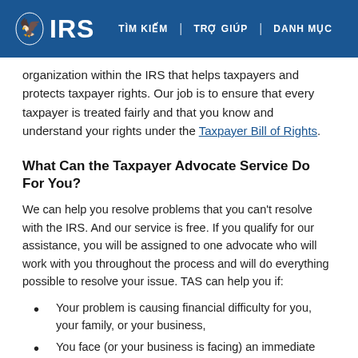IRS | TÌM KIẾM | TRỢ GIÚP | DANH MỤC
organization within the IRS that helps taxpayers and protects taxpayer rights. Our job is to ensure that every taxpayer is treated fairly and that you know and understand your rights under the Taxpayer Bill of Rights.
What Can the Taxpayer Advocate Service Do For You?
We can help you resolve problems that you can't resolve with the IRS. And our service is free. If you qualify for our assistance, you will be assigned to one advocate who will work with you throughout the process and will do everything possible to resolve your issue. TAS can help you if:
Your problem is causing financial difficulty for you, your family, or your business,
You face (or your business is facing) an immediate threat of adverse action, or
You've tried repeatedly to contact the IRS but no